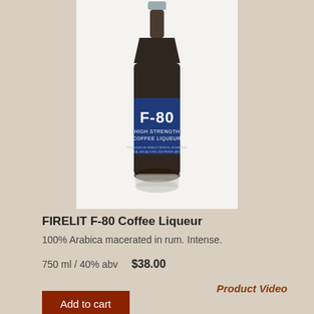[Figure (photo): A tall dark glass bottle of Firelit F-80 High Strength Coffee Liqueur with a silver cap and a blue label reading F-80.]
FIRELIT F-80 Coffee Liqueur
100% Arabica macerated in rum. Intense.
750 ml / 40% abv   $38.00
Product Video
Add to cart